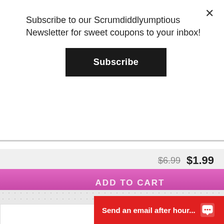Subscribe to our Scrumdiddlyumptious Newsletter for sweet coupons to your inbox!
Subscribe
$6.99  $1.99
ADD TO CART
[Figure (illustration): Mermaid balloon bouquet with central mermaid figure with pink hair and starfish, purple round balloon on left, teal/mermaid-themed balloons, pink balloon, and smaller mermaid-themed circular balloons]
Send an email after hour...